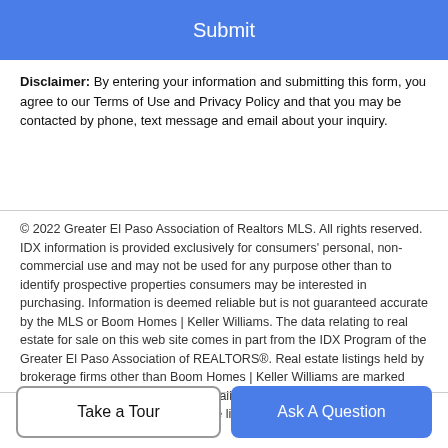[Figure (other): Blue Submit button at top of page]
Disclaimer: By entering your information and submitting this form, you agree to our Terms of Use and Privacy Policy and that you may be contacted by phone, text message and email about your inquiry.
© 2022 Greater El Paso Association of Realtors MLS. All rights reserved. IDX information is provided exclusively for consumers' personal, non-commercial use and may not be used for any purpose other than to identify prospective properties consumers may be interested in purchasing. Information is deemed reliable but is not guaranteed accurate by the MLS or Boom Homes | Keller Williams. The data relating to real estate for sale on this web site comes in part from the IDX Program of the Greater El Paso Association of REALTORS®. Real estate listings held by brokerage firms other than Boom Homes | Keller Williams are marked with the IDX logo or the IDX thumbnail logo and detailed information about them includes the name of the listing brokers. Data last updated: 2022-08-20T20:14:11.4.
[Figure (other): Two buttons at bottom: Take a Tour (outlined) and Ask A Question (blue)]